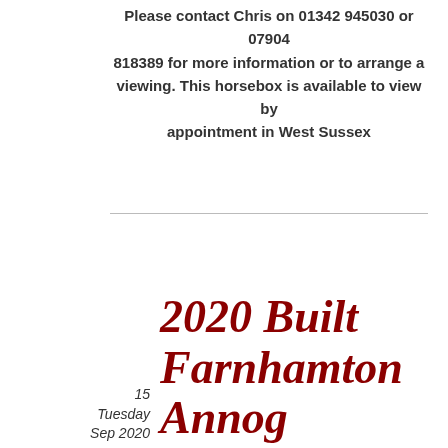Please contact Chris on 01342 945030 or 07904 818389 for more information or to arrange a viewing. This horsebox is available to view by appointment in West Sussex
15
Tuesday
Sep 2020
2020 Built Farnhamton Annon...